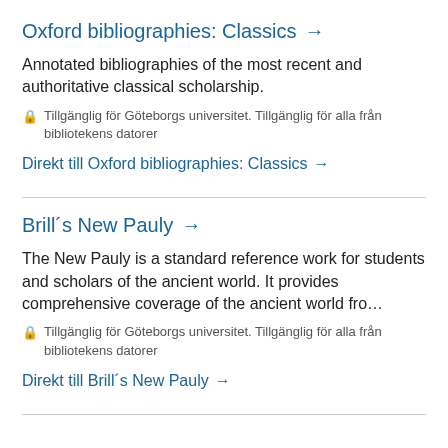Oxford bibliographies: Classics →
Annotated bibliographies of the most recent and authoritative classical scholarship.
🔒 Tillgänglig för Göteborgs universitet. Tillgänglig för alla från bibliotekens datorer
Direkt till Oxford bibliographies: Classics →
Brill´s New Pauly →
The New Pauly is a standard reference work for students and scholars of the ancient world. It provides comprehensive coverage of the ancient world fro…
🔒 Tillgänglig för Göteborgs universitet. Tillgänglig för alla från bibliotekens datorer
Direkt till Brill´s New Pauly →